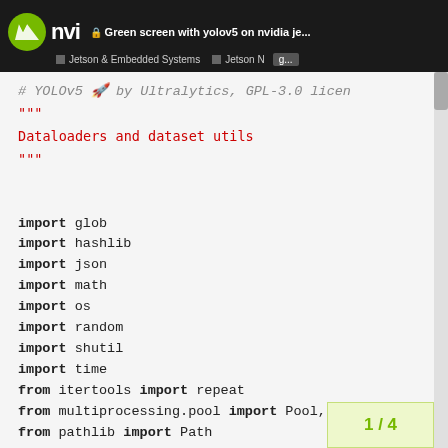Green screen with yolov5 on nvidia je... | Jetson & Embedded Systems | Jetson N g...
[Figure (screenshot): Code editor screenshot showing Python source file for YOLOv5 by Ultralytics, GPL-3.0 license. Contains docstring 'Dataloaders and dataset utils' and import statements: glob, hashlib, json, math, os, random, shutil, time, from itertools import repeat, from multiprocessing.pool import Pool T, from pathlib import Path, from threading import Thread, from zipfile import ZipFile]
# YOLOv5 🚀 by Ultralytics, GPL-3.0 license
"""
Dataloaders and dataset utils
"""

import glob
import hashlib
import json
import math
import os
import random
import shutil
import time
from itertools import repeat
from multiprocessing.pool import Pool, T
from pathlib import import Path
from threading import Thread
from zipfile import ZipFile